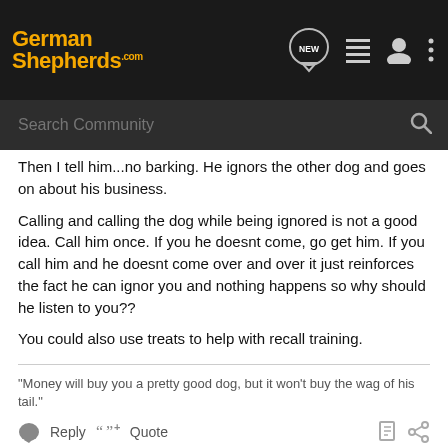GermanShepherds.com
Then I tell him...no barking. He ignors the other dog and goes on about his business.
Calling and calling the dog while being ignored is not a good idea. Call him once. If you he doesnt come, go get him. If you call him and he doesnt come over and over it just reinforces the fact he can ignor you and nothing happens so why should he listen to you??
You could also use treats to help with recall training.
"Money will buy you a pretty good dog, but it won't buy the wag of his tail."
Reply   Quote